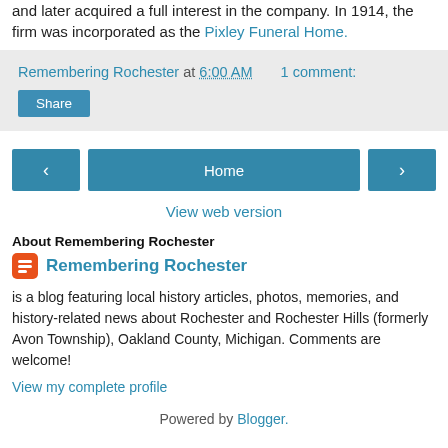and later acquired a full interest in the company. In 1914, the firm was incorporated as the Pixley Funeral Home.
Remembering Rochester at 6:00 AM    1 comment:
Share
[Figure (other): Navigation buttons: left arrow, Home, right arrow]
View web version
About Remembering Rochester
Remembering Rochester
is a blog featuring local history articles, photos, memories, and history-related news about Rochester and Rochester Hills (formerly Avon Township), Oakland County, Michigan. Comments are welcome!
View my complete profile
Powered by Blogger.